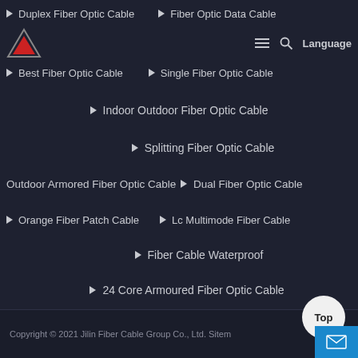Duplex Fiber Optic Cable | Fiber Optic Data Cable
[Figure (logo): Red and black triangle logo for Jilin Fiber Cable Group]
Best Fiber Optic Cable
Single Fiber Optic Cable
Indoor Outdoor Fiber Optic Cable
Splitting Fiber Optic Cable
Outdoor Armored Fiber Optic Cable
Dual Fiber Optic Cable
Orange Fiber Patch Cable
Lc Multimode Fiber Cable
Fiber Cable Waterproof
24 Core Armoured Fiber Optic Cable
Copyright © 2021 Jilin Fiber Cable Group Co., Ltd. Sitemap